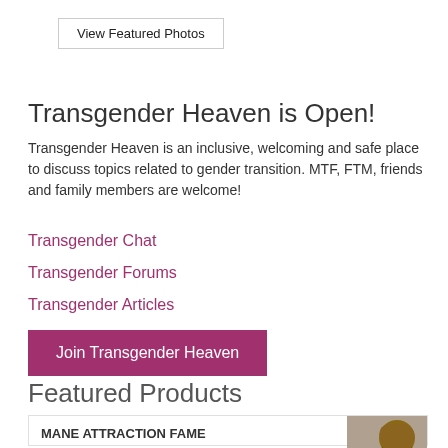View Featured Photos
Transgender Heaven is Open!
Transgender Heaven is an inclusive, welcoming and safe place to discuss topics related to gender transition. MTF, FTM, friends and family members are welcome!
Transgender Chat
Transgender Forums
Transgender Articles
Join Transgender Heaven
Featured Products
MANE ATTRACTION FAME
$105.00